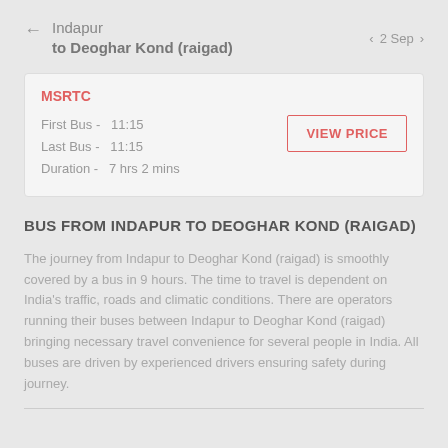Indapur to Deoghar Kond (raigad)  ← 2 Sep
| Field | Value |
| --- | --- |
| MSRTC |  |
| First Bus - | 11:15 |
| Last Bus - | 11:15 |
| Duration - | 7 hrs 2 mins |
BUS FROM INDAPUR TO DEOGHAR KOND (RAIGAD)
The journey from Indapur to Deoghar Kond (raigad) is smoothly covered by a bus in 9 hours. The time to travel is dependent on India's traffic, roads and climatic conditions. There are operators running their buses between Indapur to Deoghar Kond (raigad) bringing necessary travel convenience for several people in India. All buses are driven by experienced drivers ensuring safety during journey.